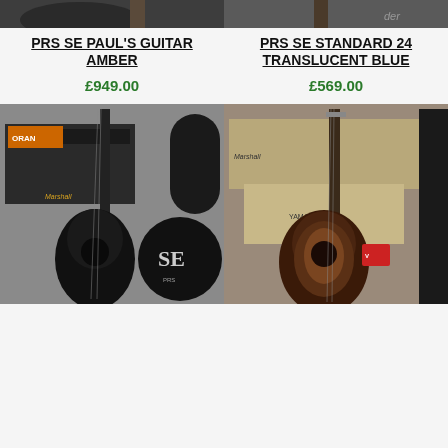[Figure (photo): Top cropped photo of a guitar, left column]
[Figure (photo): Top cropped photo of a guitar headstock, right column]
PRS SE PAUL'S GUITAR AMBER
£949.00
PRS SE STANDARD 24 TRANSLUCENT BLUE
£569.00
[Figure (photo): Black acoustic guitar leaning against Marshall amp with SE gig bag, in a music store]
[Figure (photo): Sunburst acoustic guitar in front of Marshall amp and other equipment in a music store]